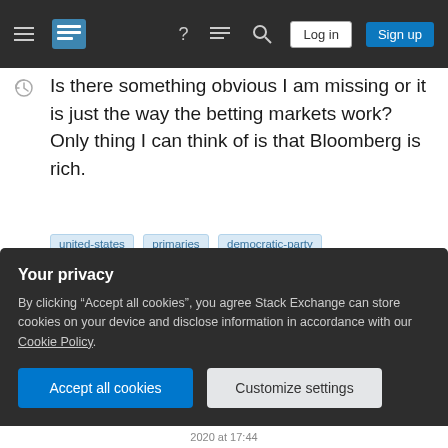Stack Exchange navigation bar with hamburger menu, logo, help, chat, search icons, Log in and Sign up buttons
Is there something obvious I am missing or it is just the way the betting markets work? Only thing I can think of is that Bloomberg is rich.
united-states
primaries
democratic-party
michael-bloomberg
Share
Improve this question
Follow
edited Feb 28, 2020 at 13:05
CDJB ◆
83.2k ● 28 ● 362 ● 421
Your privacy
By clicking "Accept all cookies", you agree Stack Exchange can store cookies on your device and disclose information in accordance with our Cookie Policy.
Accept all cookies
Customize settings
2020 at 17:44